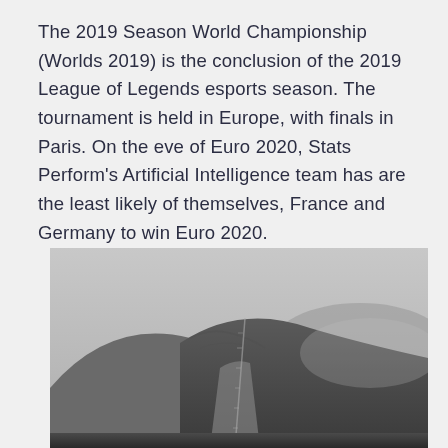The 2019 Season World Championship (Worlds 2019) is the conclusion of the 2019 League of Legends esports season. The tournament is held in Europe, with finals in Paris. On the eve of Euro 2020, Stats Perform's Artificial Intelligence team has are the least likely of themselves, France and Germany to win Euro 2020.
[Figure (photo): Black and white landscape photograph showing rolling hills or moorland with a path or fence line running up the center of the image toward a hilltop. Misty, overcast sky in the background.]